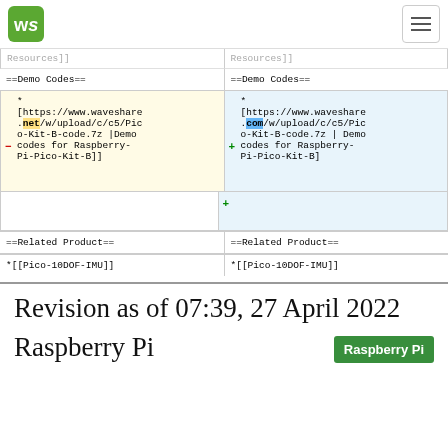Waveshare Wiki - navigation bar with logo and hamburger menu
Resources]]   Resources]]
==Demo Codes==   ==Demo Codes==
* [https://www.waveshare.net/w/upload/c/c5/Pico-Kit-B-code.7z |Demo codes for Raspberry-Pi-Pico-Kit-B]] (removed)
* [https://www.waveshare.com/w/upload/c/c5/Pico-Kit-B-code.7z | Demo codes for Raspberry-Pi-Pico-Kit-B] (added)
==Related Product==   ==Related Product==
*[[Pico-10DOF-IMU]]   *[[Pico-10DOF-IMU]]
Revision as of 07:39, 27 April 2022
Raspberry Pi
[Figure (logo): Raspberry Pi green badge/button]